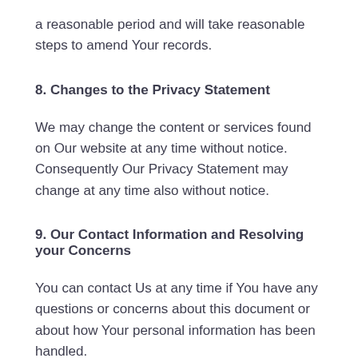a reasonable period and will take reasonable steps to amend Your records.
8. Changes to the Privacy Statement
We may change the content or services found on Our website at any time without notice. Consequently Our Privacy Statement may change at any time also without notice.
9. Our Contact Information and Resolving your Concerns
You can contact Us at any time if You have any questions or concerns about this document or about how Your personal information has been handled.
You can contact Us and ask to speak to Our Privacy